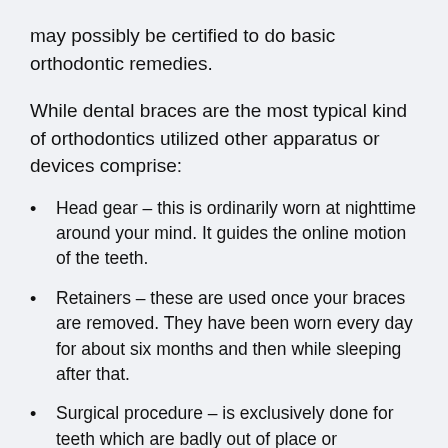may possibly be certified to do basic orthodontic remedies.
While dental braces are the most typical kind of orthodontics utilized other apparatus or devices comprise:
Head gear – this is ordinarily worn at nighttime around your mind. It guides the online motion of the teeth.
Retainers – these are used once your braces are removed. They have been worn every day for about six months and then while sleeping after that.
Surgical procedure – is exclusively done for teeth which are badly out of place or damaged.
Detachable devices – each product has its own goal and may aid transfer a tooth as needed. Before braces are fitted